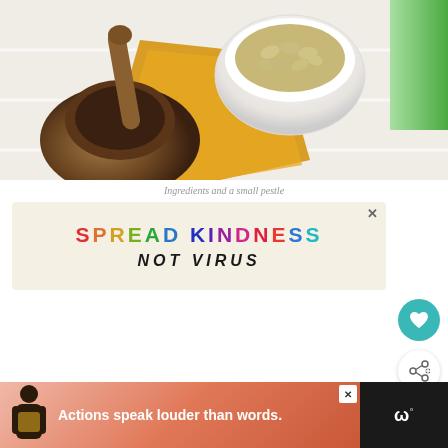[Figure (photo): Photo of ingredients including a mortar with pestle wrapped in a yellow cloth, a white bowl filled with nuts/seeds, and a partial green cup, on a white wooden surface.]
Ingredients and a small pestle
[Figure (infographic): Advertisement banner with colorful text reading 'SPREAD KINDNESS NOT VIRUS' on a beige background with an X close button.]
[Figure (infographic): What's Next card showing a thumbnail of Egg Sandwich with Arugula recipe with a teal heart button and a share button on the right side.]
[Figure (infographic): Bottom advertisement banner with pink/coral gradient background showing a person silhouette and text 'Actions speak louder than words.' with a dark section on the right showing a logo.]